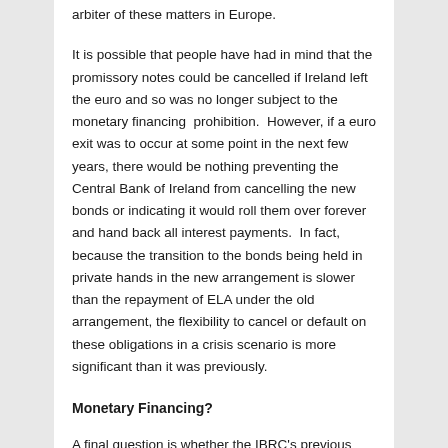arbiter of these matters in Europe.
It is possible that people have had in mind that the promissory notes could be cancelled if Ireland left the euro and so was no longer subject to the monetary financing  prohibition.  However, if a euro exit was to occur at some point in the next few years, there would be nothing preventing the Central Bank of Ireland from cancelling the new bonds or indicating it would roll them over forever and hand back all interest payments.  In fact, because the transition to the bonds being held in private hands in the new arrangement is slower than the repayment of ELA under the old arrangement, the flexibility to cancel or default on these obligations in a crisis scenario is more significant than it was previously.
Monetary Financing?
A final question is whether the IBRC's previous funding or the current arrangements constitute a violation of the European Treaty's prohibition of monetary financing.